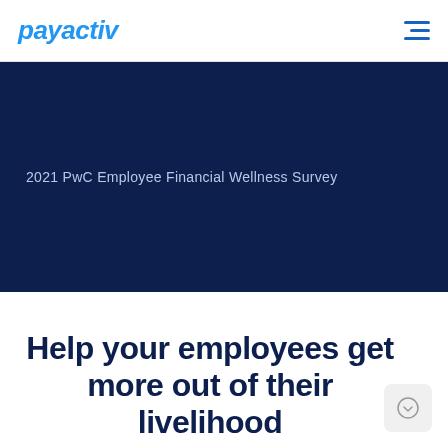payactiv
[Figure (screenshot): Dark navy blue banner with text '2021 PwC Employee Financial Wellness Survey' in light blue-grey color]
2021 PwC Employee Financial Wellness Survey
Help your employees get more out of their livelihood